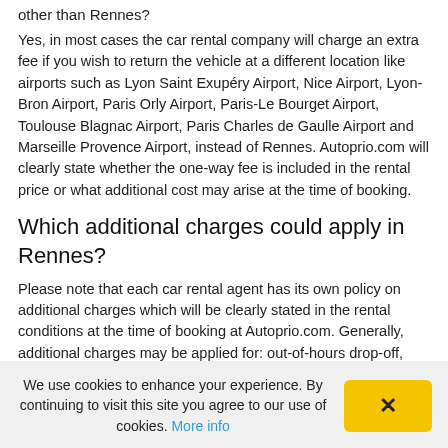other than Rennes?
Yes, in most cases the car rental company will charge an extra fee if you wish to return the vehicle at a different location like airports such as Lyon Saint Exupéry Airport, Nice Airport, Lyon-Bron Airport, Paris Orly Airport, Paris-Le Bourget Airport, Toulouse Blagnac Airport, Paris Charles de Gaulle Airport and Marseille Provence Airport, instead of Rennes. Autoprio.com will clearly state whether the one-way fee is included in the rental price or what additional cost may arise at the time of booking.
Which additional charges could apply in Rennes?
Please note that each car rental agent has its own policy on additional charges which will be clearly stated in the rental conditions at the time of booking at Autoprio.com. Generally, additional charges may be applied for: out-of-hours drop-off, border crossing, one-way rentals, young drivers, winter tyres, out-of-hours pick-up and senior drivers. Any additional charges will need to be
We use cookies to enhance your experience. By continuing to visit this site you agree to our use of cookies. More info